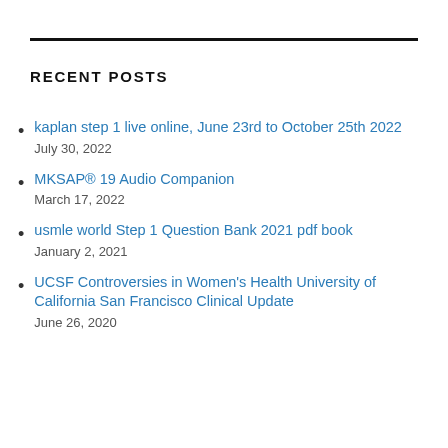RECENT POSTS
kaplan step 1 live online, June 23rd to October 25th 2022
July 30, 2022
MKSAP® 19 Audio Companion
March 17, 2022
usmle world Step 1 Question Bank 2021 pdf book
January 2, 2021
UCSF Controversies in Women's Health University of California San Francisco Clinical Update
June 26, 2020